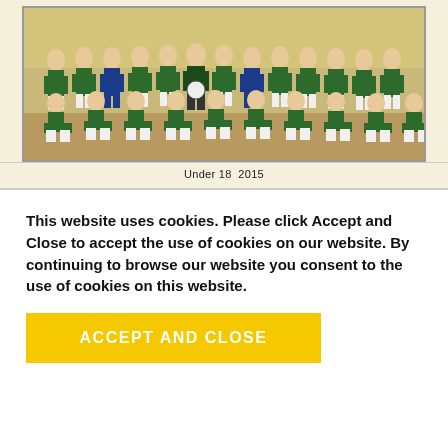[Figure (photo): Group photo of a youth football (soccer) team in green jerseys with coaching staff, seated and standing in rows indoors. Some staff members wear blue tracksuits.]
Under 18  2015
This website uses cookies. Please click Accept and Close to accept the use of cookies on our website. By continuing to browse our website you consent to the use of cookies on this website.
ACCEPT AND CLOSE